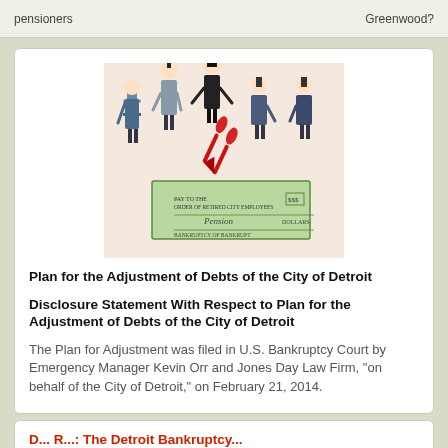pensioners   Greenwood?
[Figure (illustration): Cartoon illustration of several figures in suits holding a large green check made out for 'Pension' with red scissors cutting through it.]
Plan for the Adjustment of Debts of the City of Detroit
Disclosure Statement With Respect to Plan for the Adjustment of Debts of the City of Detroit
The Plan for Adjustment was filed in U.S. Bankruptcy Court by Emergency Manager Kevin Orr and Jones Day Law Firm, "on behalf of the City of Detroit," on February 21, 2014.
D... R...: The Detroit Bankruptcy...